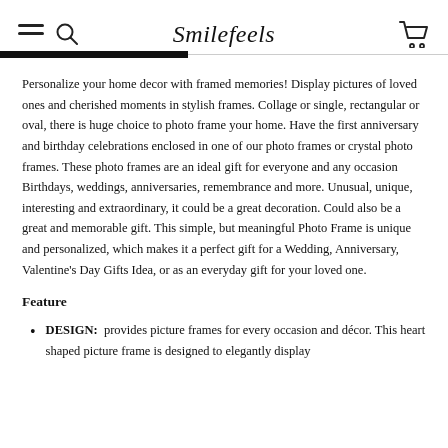Smilefeels
Personalize your home decor with framed memories! Display pictures of loved ones and cherished moments in stylish frames. Collage or single, rectangular or oval, there is huge choice to photo frame your home. Have the first anniversary and birthday celebrations enclosed in one of our photo frames or crystal photo frames. These photo frames are an ideal gift for everyone and any occasion Birthdays, weddings, anniversaries, remembrance and more. Unusual, unique, interesting and extraordinary, it could be a great decoration. Could also be a great and memorable gift. This simple, but meaningful Photo Frame is unique and personalized, which makes it a perfect gift for a Wedding, Anniversary, Valentine's Day Gifts Idea, or as an everyday gift for your loved one.
Feature
DESIGN:  provides picture frames for every occasion and décor. This heart shaped picture frame is designed to elegantly display